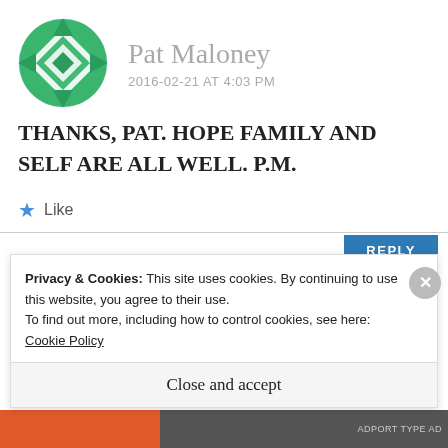[Figure (illustration): Green geometric avatar with diamond/quilt pattern in circle shape for user Pat Maloney]
Pat Maloney
2016-02-21 AT 4:03 PM
THANKS, PAT. HOPE FAMILY AND SELF ARE ALL WELL. P.M.
Like
REPLY
[Figure (illustration): Teal/cyan geometric avatar with arrow/chevron pattern for user drpatwalsh]
drpatwalsh
Privacy & Cookies: This site uses cookies. By continuing to use this website, you agree to their use.
To find out more, including how to control cookies, see here: Cookie Policy
Close and accept